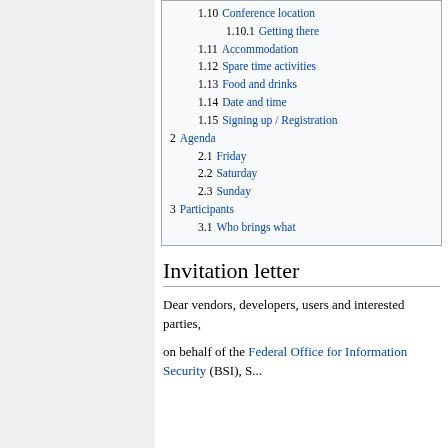1.10 Conference location
1.10.1 Getting there
1.11 Accommodation
1.12 Spare time activities
1.13 Food and drinks
1.14 Date and time
1.15 Signing up / Registration
2 Agenda
2.1 Friday
2.2 Saturday
2.3 Sunday
3 Participants
3.1 Who brings what
Invitation letter
Dear vendors, developers, users and interested parties,
on behalf of the Federal Office for Information Security (BSI), S...